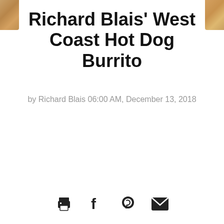[Figure (photo): Small food photo thumbnail in top-left corner]
[Figure (photo): Small food photo thumbnail in top-right corner]
Richard Blais' West Coast Hot Dog Burrito
by Richard Blais 06:00 AM, December 13, 2018
[Figure (other): Social sharing icons: print, Facebook, Pinterest, email]